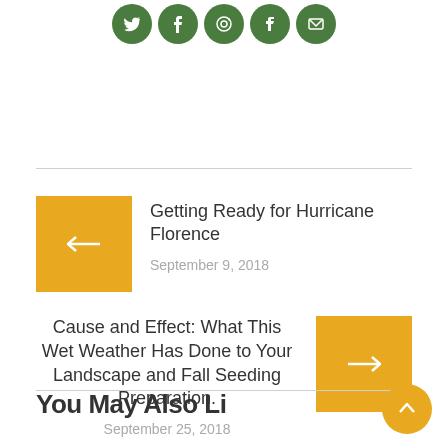[Figure (other): Social media share icons (Twitter, Facebook, Pinterest, Tumblr, Email) as green circles at top of page]
Getting Ready for Hurricane Florence
September 9, 2018
Cause and Effect: What This Wet Weather Has Done to Your Landscape and Fall Seeding Preparation.
September 25, 2018